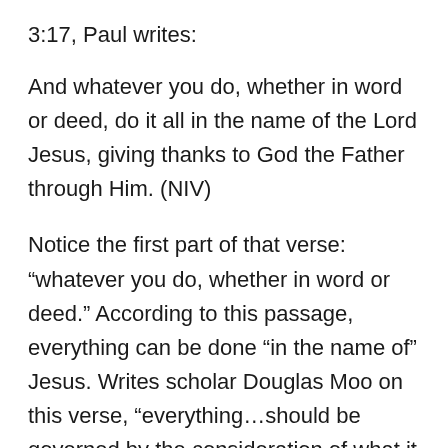3:17, Paul writes:
And whatever you do, whether in word or deed, do it all in the name of the Lord Jesus, giving thanks to God the Father through Him. (NIV)
Notice the first part of that verse: “whatever you do, whether in word or deed.” According to this passage, everything can be done “in the name of” Jesus. Writes scholar Douglas Moo on this verse, “everything…should be governed by the consideration of what it means to live in the realm of the risen Christ….since we have put on [the] Lord, becoming as a community the ‘new self’ who is